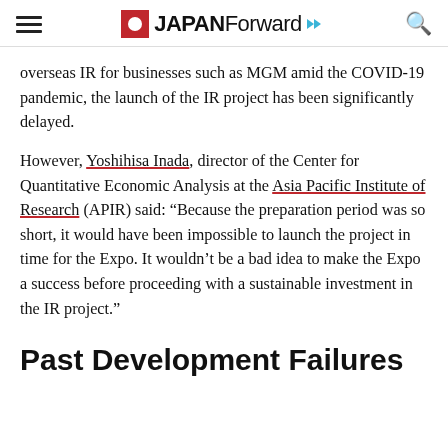JAPAN Forward
overseas IR for businesses such as MGM amid the COVID-19 pandemic, the launch of the IR project has been significantly delayed.
However, Yoshihisa Inada, director of the Center for Quantitative Economic Analysis at the Asia Pacific Institute of Research (APIR) said: “Because the preparation period was so short, it would have been impossible to launch the project in time for the Expo. It wouldn’t be a bad idea to make the Expo a success before proceeding with a sustainable investment in the IR project.”
Past Development Failures